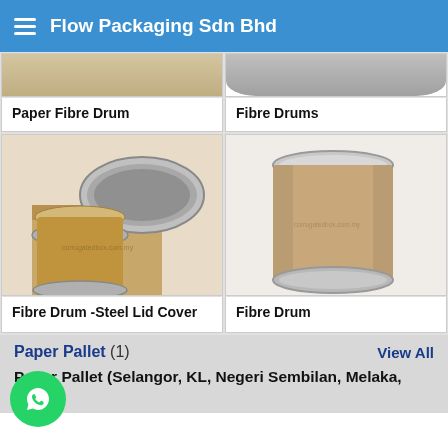Flow Packaging Sdn Bhd
Paper Fibre Drum
Fibre Drums
[Figure (photo): Fibre drum with open steel lid cover, showing interior, brown cardboard drum with metal rim]
Fibre Drum -Steel Lid Cover
[Figure (photo): Fibre drum with steel lid, closed brown cardboard cylindrical drum with metal rim top and bottom]
Fibre Drum
Paper Pallet (1)
View All
Paper Pallet (Selangor, KL, Negeri Sembilan, Melaka, Johor)